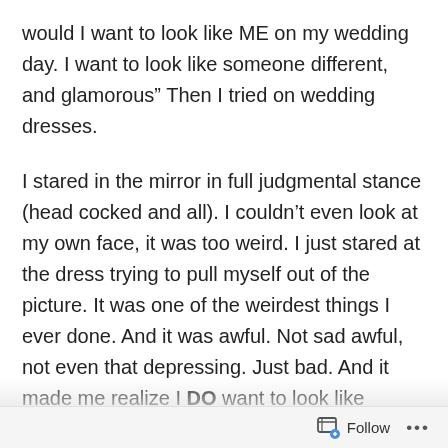would I want to look like ME on my wedding day. I want to look like someone different, and glamorous” Then I tried on wedding dresses.
I stared in the mirror in full judgmental stance (head cocked and all). I couldn’t even look at my own face, it was too weird. I just stared at the dress trying to pull myself out of the picture. It was one of the weirdest things I ever done. And it was awful. Not sad awful, not even that depressing. Just bad. And it made me realize I DO want to look like myself, and I DONT want to look like a cookie cutter bride.
So I though and thought about it. I looked through all the pictures of dresses I thought I wanted, and then I realized
Follow …